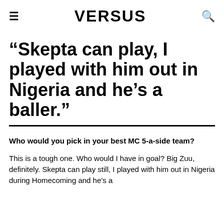VERSUS
“Skipta can play, I played with him out in Nigeria and he’s a baller.”
Who would you pick in your best MC 5-a-side team?
This is a tough one. Who would I have in goal? Big Zuu, definitely. Skepta can play still, I played with him out in Nigeria during Homecoming and he’s a